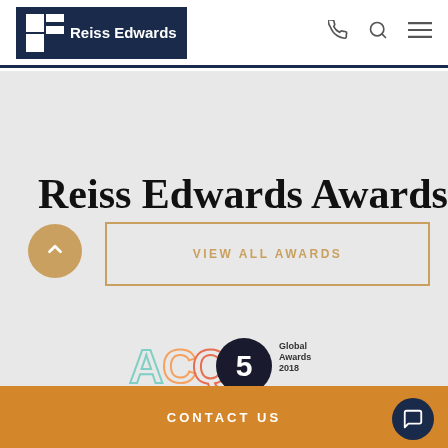Reiss Edwards
Reiss Edwards Awards
[Figure (logo): ACQ5 Global Awards 2018 logo — UK (City) - Corporate Immigration Firm of the Year, Reiss Edwards Immigration Lawyers]
VIEW ALL AWARDS
CONTACT US